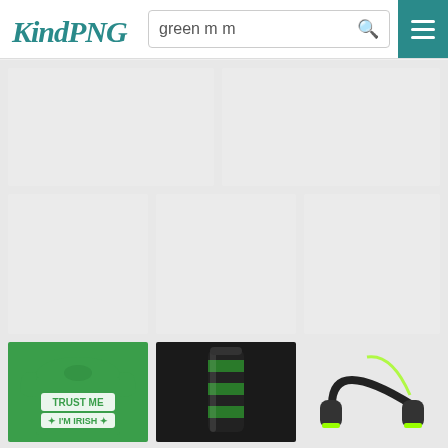KindPNG - green m m
[Figure (screenshot): KindPNG website screenshot showing search results for 'green m m'. Header with KindPNG logo, search bar with query 'green m m', and hamburger menu button in teal. Grid of image results: two large placeholder tiles on top row, three medium placeholder tiles in second row, and third row showing partial product images: a green 'Trust Me I'm Irish' long-sleeve shirt, a black and green striped tumbler, and black/green headphones.]